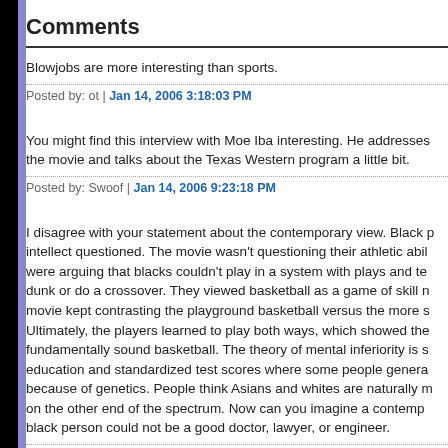Comments
Blowjobs are more interesting than sports.
Posted by: ot | Jan 14, 2006 3:18:03 PM
You might find this interview with Moe Iba interesting. He addresses the movie and talks about the Texas Western program a little bit.
Posted by: Swoof | Jan 14, 2006 9:23:18 PM
I disagree with your statement about the contemporary view. Black people had their intellect questioned. The movie wasn't questioning their athletic ability, they were arguing that blacks couldn't play in a system with plays and teamwork or dunk or do a crossover. They viewed basketball as a game of skill not athleticism. The movie kept contrasting the playground basketball versus the more structured game. Ultimately, the players learned to play both ways, which showed they could play fundamentally sound basketball. The theory of mental inferiority is similar to education and standardized test scores where some people generalize that it's because of genetics. People think Asians and whites are naturally more intelligent on the other end of the spectrum. Now can you imagine a contemporary view that a black person could not be a good doctor, lawyer, or engineer.